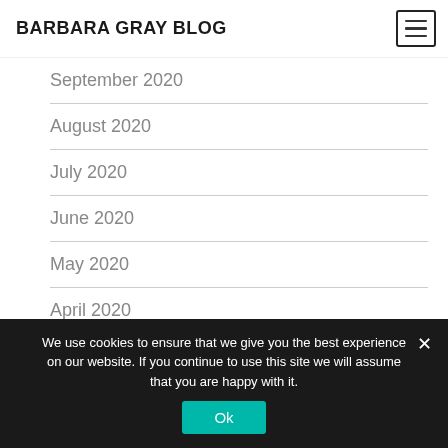BARBARA GRAY BLOG
September 2020
August 2020
July 2020
June 2020
May 2020
April 2020
March 2020
We use cookies to ensure that we give you the best experience on our website. If you continue to use this site we will assume that you are happy with it.
Ok